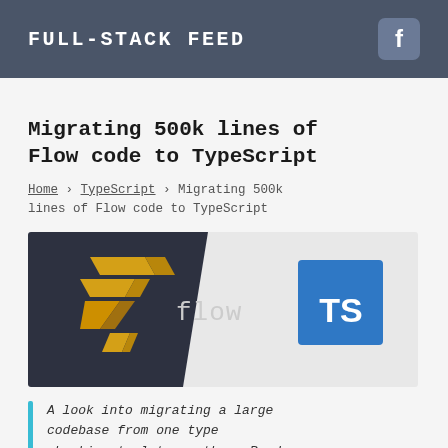FULL-STACK FEED
Migrating 500k lines of Flow code to TypeScript
Home › TypeScript › Migrating 500k lines of Flow code to TypeScript
[Figure (illustration): Hero image showing Flow logo (gold lightning bolt icon with 'flow' text on dark background) and TypeScript logo (blue square with 'TS' text on light background), side by side.]
A look into migrating a large codebase from one type checking tool to another. Read more